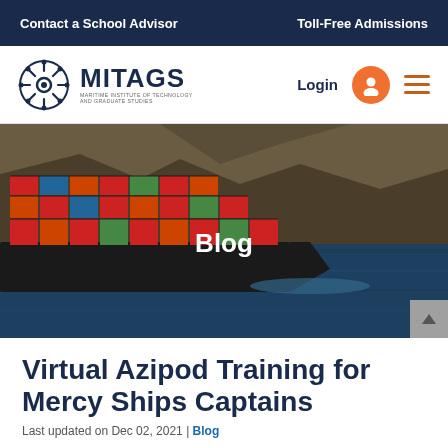Contact a School Advisor    Toll-Free Admissions
[Figure (logo): MITAGS Maritime Institute of Technology and Graduate Studies logo with ship wheel icon, Login button, user icon, and hamburger menu]
[Figure (photo): Hero image of a large container ship on water with rocky hills in background, with 'Blog' text overlay]
Virtual Azipod Training for Mercy Ships Captains
Last updated on Dec 02, 2021 | Blog